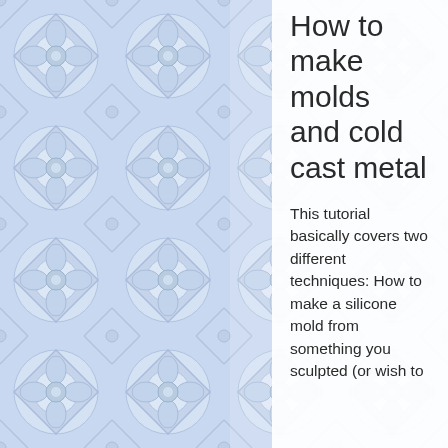[Figure (illustration): Decorative blue and white tile/mosaic pattern background filling the left portion of the page]
How to make molds and cold cast metal
This tutorial basically covers two different techniques: How to make a silicone mold from something you sculpted (or wish to